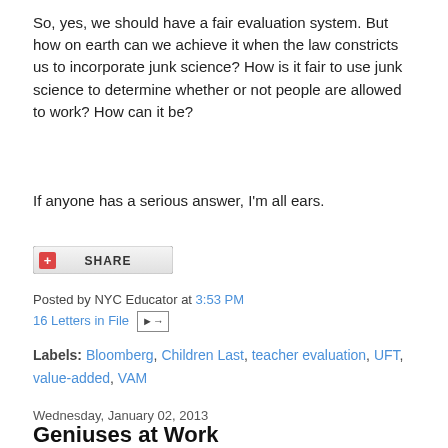So, yes, we should have a fair evaluation system. But how on earth can we achieve it when the law constricts us to incorporate junk science? How is it fair to use junk science to determine whether or not people are allowed to work? How can it be?
If anyone has a serious answer, I'm all ears.
[Figure (other): Share button with red plus icon and text SHARE]
Posted by NYC Educator at 3:53 PM
16 Letters in File
Labels: Bloomberg, Children Last, teacher evaluation, UFT, value-added, VAM
Wednesday, January 02, 2013
Geniuses at Work
[Figure (illustration): Comic strip image with dark background showing a red figure on a pedestal with dramatic red wing-like shapes, SHRED text visible at top left]